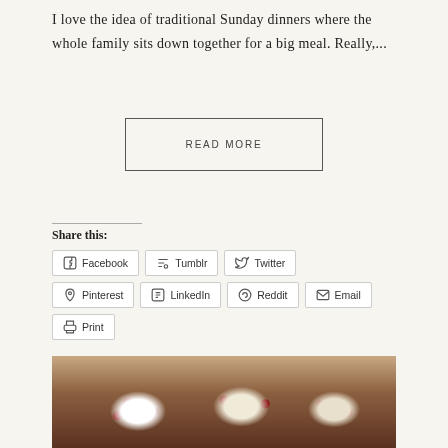I love the idea of traditional Sunday dinners where the whole family sits down together for a big meal. Really,...
READ MORE
Share this:
Facebook
Tumblr
Twitter
Pinterest
LinkedIn
Reddit
Email
Print
[Figure (photo): Cookies with white frosting and red berry/cherry decorations on a wooden surface]